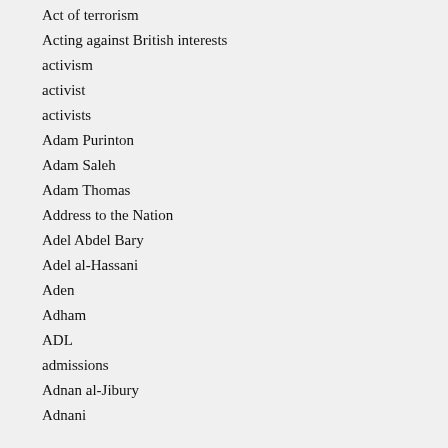Act of terrorism
Acting against British interests
activism
activist
activists
Adam Purinton
Adam Saleh
Adam Thomas
Address to the Nation
Adel Abdel Bary
Adel al-Hassani
Aden
Adham
ADL
admissions
Adnan al-Jibury
Adnani